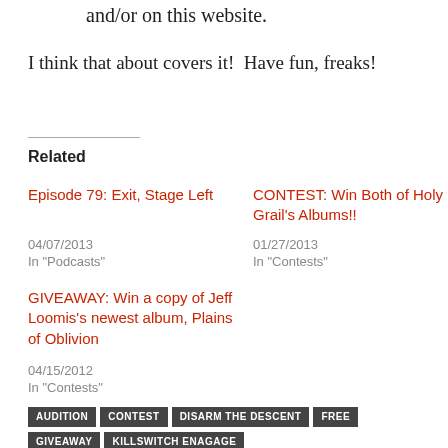and/or on this website.
I think that about covers it!  Have fun, freaks!
Related
Episode 79: Exit, Stage Left
04/07/2013
In "Podcasts"
CONTEST: Win Both of Holy Grail's Albums!!
01/27/2013
In "Contests"
GIVEAWAY: Win a copy of Jeff Loomis's newest album, Plains of Oblivion
04/15/2012
In "Contests"
AUDITION
CONTEST
DISARM THE DESCENT
FREE
GIVEAWAY
KILLSWITCH ENAGAGE